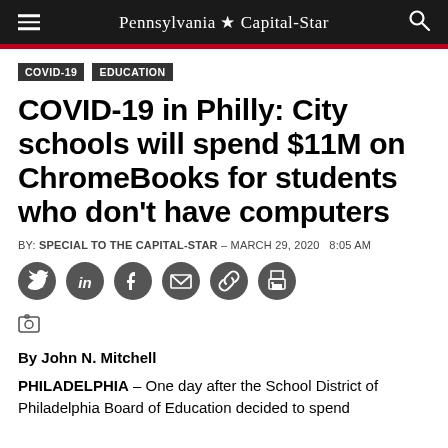Pennsylvania ★ Capital-Star
COVID-19  EDUCATION
COVID-19 in Philly: City schools will spend $11M on ChromeBooks for students who don't have computers
BY: SPECIAL TO THE CAPITAL-STAR - MARCH 29, 2020  8:05 AM
[Figure (illustration): Social sharing icons: Twitter, LinkedIn, Facebook, Email, Link, Print]
[Figure (illustration): Camera icon]
By John N. Mitchell
PHILADELPHIA – One day after the School District of Philadelphia Board of Education decided to spend